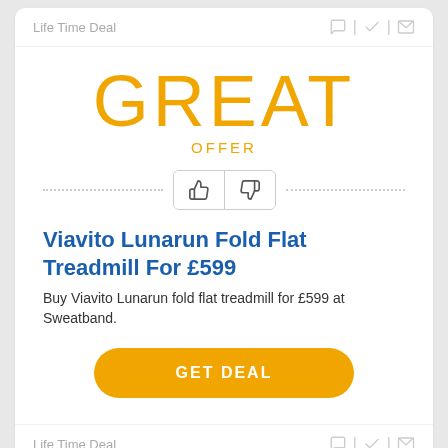Life Time Deal
GREAT
OFFER
Viavito Lunarun Fold Flat Treadmill For £599
Buy Viavito Lunarun fold flat treadmill for £599 at Sweatband.
GET DEAL
Life Time Deal